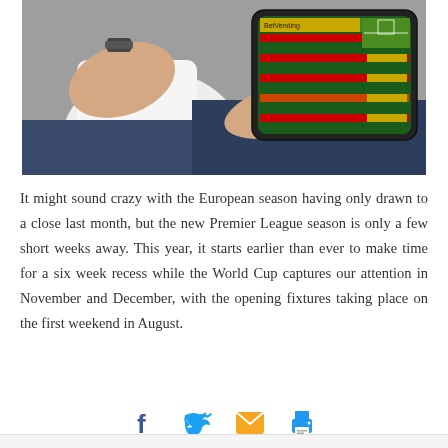[Figure (photo): Person sitting and holding a tablet device showing a green sports betting interface with odds/fixtures displayed on screen]
It might sound crazy with the European season having only drawn to a close last month, but the new Premier League season is only a few short weeks away. This year, it starts earlier than ever to make time for a six week recess while the World Cup captures our attention in November and December, with the opening fixtures taking place on the first weekend in August.
[Figure (infographic): Social sharing icons: Facebook (blue f), Twitter (blue bird), Email (orange envelope), Print (blue printer)]